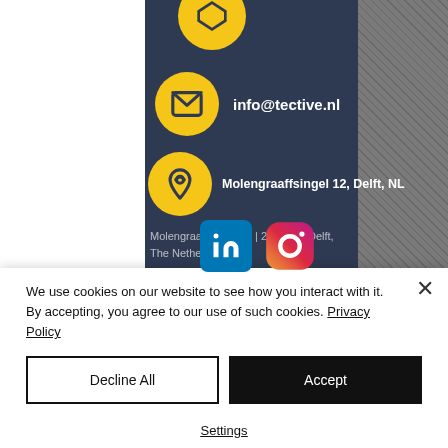[Figure (screenshot): Contact section of Tective website showing dark navy background with yellow circle icons for email (info@tective.nl) and address (Molengraaffsingel 12, Delft, NL), LinkedIn and Instagram social icons, and footer address text. Right side has grey textured background. Left has white column.]
info@tective.nl
Molengraaffsingel 12, Delft, NL
Molengraaffsingel 12 | 2629 JD, Delft, The Netherlands
We use cookies on our website to see how you interact with it. By accepting, you agree to our use of such cookies. Privacy Policy
Decline All
Accept
Settings